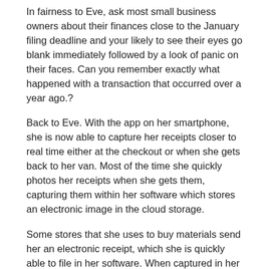In fairness to Eve, ask most small business owners about their finances close to the January filing deadline and your likely to see their eyes go blank immediately followed by a look of panic on their faces. Can you remember exactly what happened with a transaction that occurred over a year ago.?
Back to Eve. With the app on her smartphone, she is now able to capture her receipts closer to real time either at the checkout or when she gets back to her van. Most of the time she quickly photos her receipts when she gets them, capturing them within her software which stores an electronic image in the cloud storage.
Some stores that she uses to buy materials send her an electronic receipt, which she is quickly able to file in her software. When captured in her software, her app populates automatically with amounts recognised